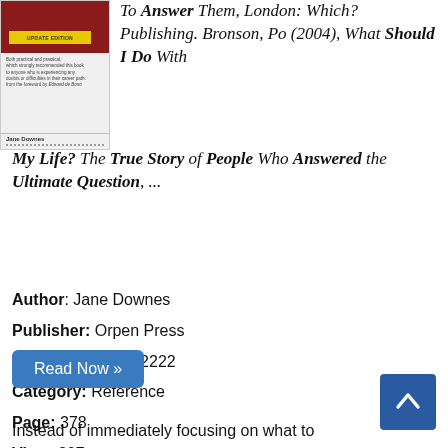[Figure (illustration): Book cover thumbnail for a career/self-help book by Jane Downes, published by Orpen Press. Cover has dark red top section with yellow banner, grey middle section with small text, and author name at bottom.]
To Answer Them, London: Which? Publishing. Bronson, Po (2004), What Should I Do With My Life? The True Story of People Who Answered the Ultimate Question, ...
Author: Jane Downes
Publisher: Orpen Press
ISBN: 9781842182222
Category: Reference
Page: 378
View: 307
Read Now »
Instead of immediately focusing on what to